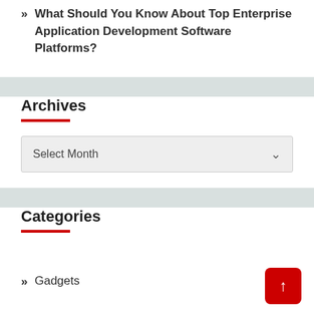» What Should You Know About Top Enterprise Application Development Software Platforms?
Archives
Select Month
Categories
» Gadgets